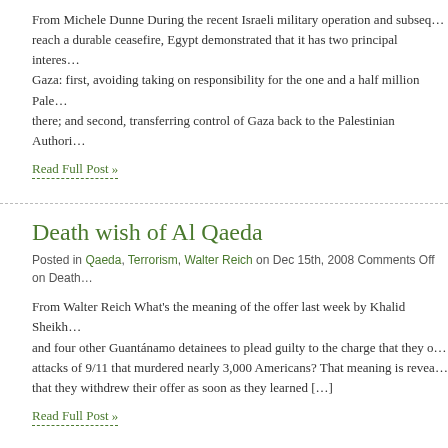From Michele Dunne During the recent Israeli military operation and subsequent efforts to reach a durable ceasefire, Egypt demonstrated that it has two principal interests in Gaza: first, avoiding taking on responsibility for the one and a half million Palestinians there; and second, transferring control of Gaza back to the Palestinian Authori…
Read Full Post »
Death wish of Al Qaeda
Posted in Qaeda, Terrorism, Walter Reich on Dec 15th, 2008 Comments Off on Death…
From Walter Reich What's the meaning of the offer last week by Khalid Sheikh… and four other Guantánamo detainees to plead guilty to the charge that they organized the attacks of 9/11 that murdered nearly 3,000 Americans? That meaning is revealed by the fact that they withdrew their offer as soon as they learned […]
Read Full Post »
'The Globalization of Martyrdom'
Posted in Books, Qaeda, Terrorism on Dec 5th, 2008 Comments Off on 'The Globaliza…